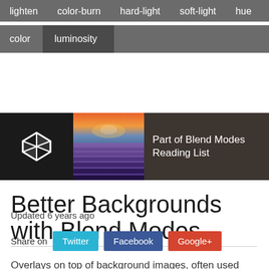lighten   color-burn   hard-light   soft-light   hue
color   luminosity
[Figure (screenshot): CodePen logo (diamond shape icon on black background) and a reading list banner showing a lavender field photo with text 'Part of Blend Modes Reading List']
Better Backgrounds with Blend Modes
Updated 6 years ago
Share on   Twitter   Facebook   Google+
Overlays on top of background images, often used